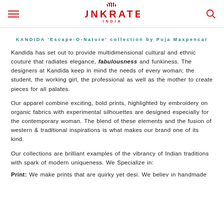UNKRATE INDIA
KANDIDA 'Escape-O-Nature' collection by Puja Maxpencar
Kandida has set out to provide multidimensional cultural and ethnic couture that radiates elegance, fabulousness and funkiness. The designers at Kandida keep in mind the needs of every woman; the student, the working girl, the professional as well as the mother to create pieces for all palates.
Our apparel combine exciting, bold prints, highlighted by embroidery on organic fabrics with experimental silhouettes are designed especially for the contemporary woman. The blend of these elements and the fusion of western & traditional inspirations is what makes our brand one of its kind.
Our collections are brilliant examples of the vibrancy of Indian traditions with spark of modern uniqueness. We Specialize in:
Print: We make prints that are quirky yet desi. We believ in handmade